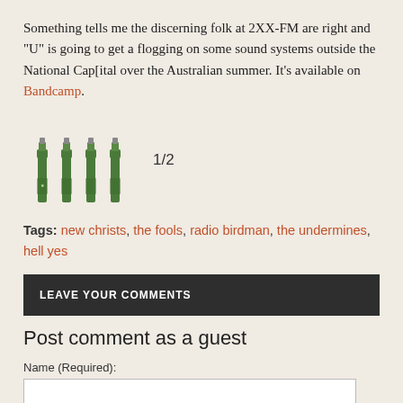Something tells me the discerning folk at 2XX-FM are right and "U" is going to get a flogging on some sound systems outside the National Cap[ital over the Australian summer. It's available on Bandcamp.
[Figure (illustration): Four green beer bottles arranged side by side, with the rating text '1/2' beside them]
Tags: new christs, the fools, radio birdman, the undermines, hell yes
LEAVE YOUR COMMENTS
Post comment as a guest
Name (Required):
Email (Required):